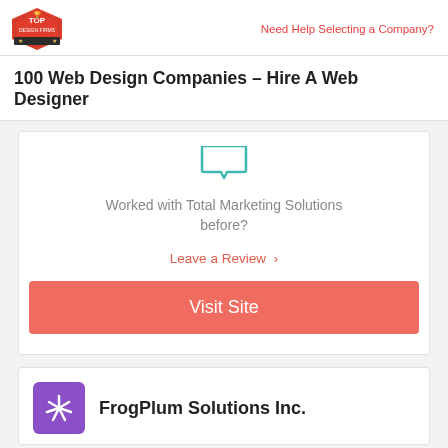Top Design Firms | Need Help Selecting a Company?
100 Web Design Companies – Hire A Web Designer
Worked with Total Marketing Solutions before?
Leave a Review >
Visit Site
FrogPlum Solutions Inc.